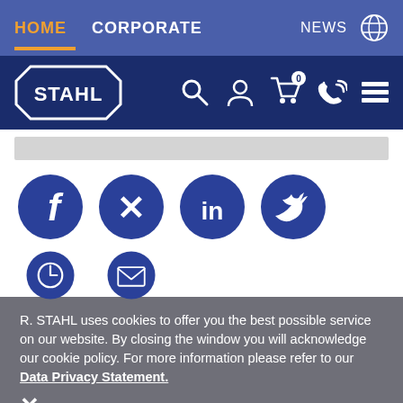HOME  CORPORATE  NEWS
[Figure (logo): R. STAHL company logo in octagon shape on dark blue navigation bar with search, user, cart, phone, and menu icons]
[Figure (infographic): Social media icons: Facebook, Xing, LinkedIn, Twitter in top row; clock/time and email icons partially visible in second row]
R. STAHL uses cookies to offer you the best possible service on our website. By closing the window you will acknowledge our cookie policy. For more information please refer to our Data Privacy Statement.